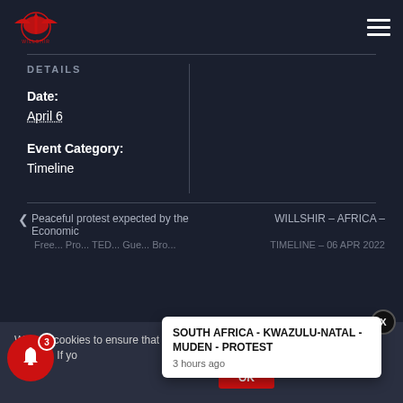Willshir logo and navigation menu
DETAILS
Date:
April 6
Event Category:
Timeline
< Peaceful protest expected by the Economic
WILLSHIR – AFRICA –
We use cookies to ensure that we give you the best experience on our website. If yo
SOUTH AFRICA - KWAZULU-NATAL - MUDEN - PROTEST
3 hours ago
OK